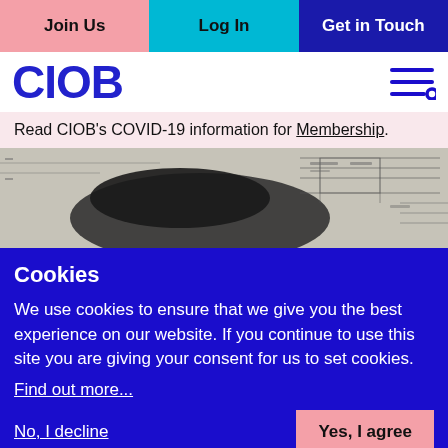Join Us | Log In | Get in Touch
CIOB
Read CIOB's COVID-19 information for Membership.
[Figure (photo): Black and white photo of a hand pointing at architectural or engineering blueprints/drawings on a desk]
Cookies
We use cookies to ensure that we give you the best experience on our website. If you continue to use this site you are giving your consent for us to set cookies.
Find out more...
No, I decline
Yes, I agree